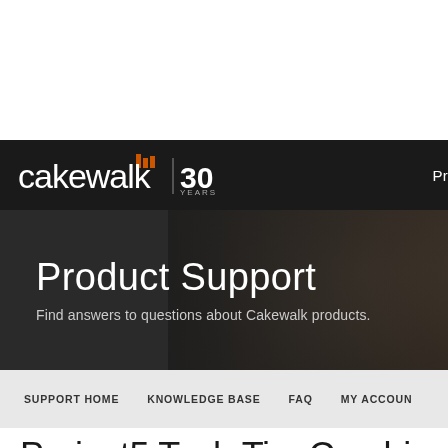[Figure (logo): Cakewalk 30 Years logo on dark navigation bar with 'Pr' text partially visible on right]
Product Support
Find answers to questions about Cakewalk products.
SUPPORT HOME   KNOWLEDGE BASE   FAQ   MY ACCOUNT
Project5 Tech Tip: Combi...